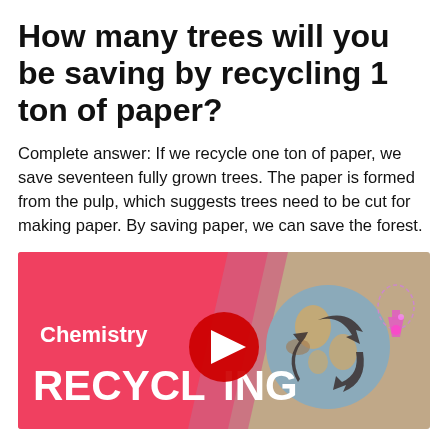How many trees will you be saving by recycling 1 ton of paper?
Complete answer: If we recycle one ton of paper, we save seventeen fully grown trees. The paper is formed from the pulp, which suggests trees need to be cut for making paper. By saving paper, we can save the forest.
[Figure (screenshot): YouTube video thumbnail for a Chemistry Recycling video. Left side has a pink/red gradient background with white text 'Chemistry' above large white text 'RECYCLING'. Center shows a red YouTube play button circle. Right side shows a cartoon globe with recycling arrows and a pink chemistry flask figure on a beige/tan background.]